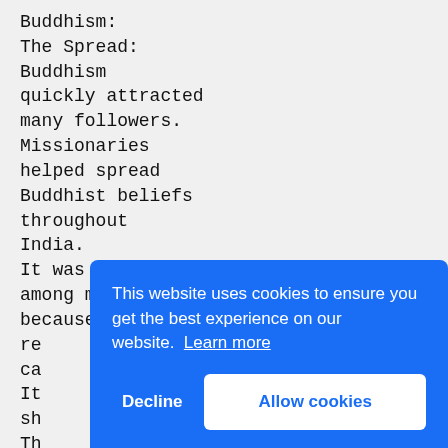Buddhism: The Spread: Buddhism quickly attracted many followers. Missionaries helped spread Buddhist beliefs throughout India. It was popular among many because it rejected the caste system. It showed that shared beliefs can bring unity. The young Siddhartha had grown up ar... Sid... youth in comfort
This website uses cookies to ensure you get the best experience on our website. Learn more
Decline  Allow cookies